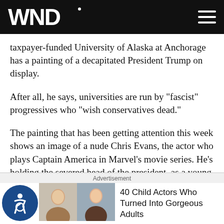WND
taxpayer-funded University of Alaska at Anchorage has a painting of a decapitated President Trump on display.
After all, he says, universities are run by "fascist" progressives who "wish conservatives dead."
The painting that has been getting attention this week shows an image of a nude Chris Evans, the actor who plays Captain America in Marvel's movie series. He's holding the severed head of the president, as a young '60s-era Hillary Clinton clings to his leg.
Advertisement
40 Child Actors Who Turned Into Gorgeous Adults